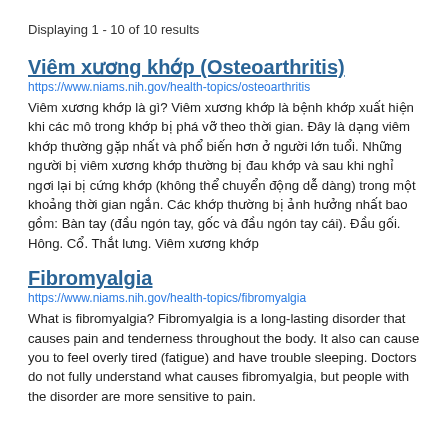Displaying 1 - 10 of 10 results
Viêm xương khớp (Osteoarthritis)
https://www.niams.nih.gov/health-topics/osteoarthritis
Viêm xương khớp là gì? Viêm xương khớp là bệnh khớp xuất hiện khi các mô trong khớp bị phá vỡ theo thời gian. Đây là dạng viêm khớp thường gặp nhất và phổ biến hơn ở người lớn tuổi. Những người bị viêm xương khớp thường bị đau khớp và sau khi nghỉ ngơi lại bị cứng khớp (không thể chuyển động dễ dàng) trong một khoảng thời gian ngắn. Các khớp thường bị ảnh hưởng nhất bao gồm: Bàn tay (đầu ngón tay, gốc và đầu ngón tay cái). Đầu gối. Hông. Cổ. Thắt lưng. Viêm xương khớp
Fibromyalgia
https://www.niams.nih.gov/health-topics/fibromyalgia
What is fibromyalgia? Fibromyalgia is a long-lasting disorder that causes pain and tenderness throughout the body. It also can cause you to feel overly tired (fatigue) and have trouble sleeping. Doctors do not fully understand what causes fibromyalgia, but people with the disorder are more sensitive to pain.